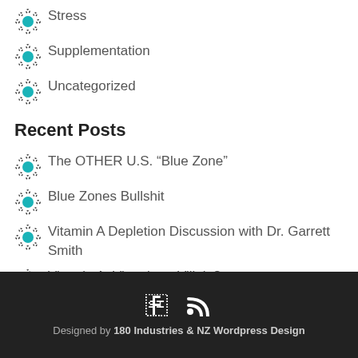Stress
Supplementation
Uncategorized
Recent Posts
The OTHER U.S. “Blue Zone”
Blue Zones Bullshit
Vitamin A Depletion Discussion with Dr. Garrett Smith
Vitamin A: Vitamin or Villain?
The OMAD Diet
Designed by 180 Industries & NZ Wordpress Design